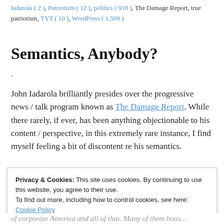Iadarola ( 2 ), Patriotism ( 12 ), politics ( 918 ), The Damage Report, true patriotism, TYT ( 10 ), WordPress ( 1,509 )
Semantics, Anybody?
`
John Iadarola brilliantly presides over the progressive news / talk program known as The Damage Report. While there rarely, if ever, has been anything objectionable to his content / perspective, in this extremely rare instance, I find myself feeling a bit of discontent re his semantics.
Privacy & Cookies: This site uses cookies. By continuing to use this website, you agree to their use. To find out more, including how to control cookies, see here: Cookie Policy
Close and accept
of corporate America and all of that. Many of them hous…